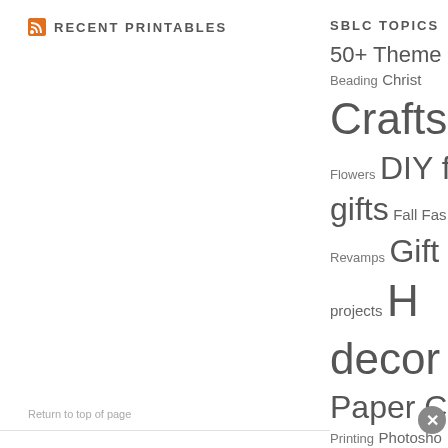RECENT PRINTABLES
SBLC TOPICS
50+ Theme Beading Christmas Crafts Crochet Flowers DIY f gifts Fall Fashion Revamps Gift projects Home decor projects Paper Crafts Printing Photoshop Printables Recycled Paint Projects Uncategorized Wall Art w